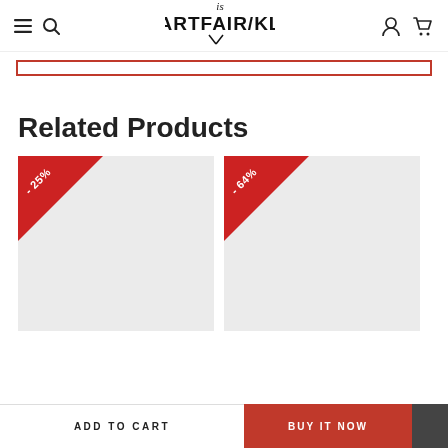isARTFAIR/KL
Related Products
[Figure (screenshot): Two product cards with red discount badges showing -25% and -64% off, on a gray background]
ADD TO CART
BUY IT NOW